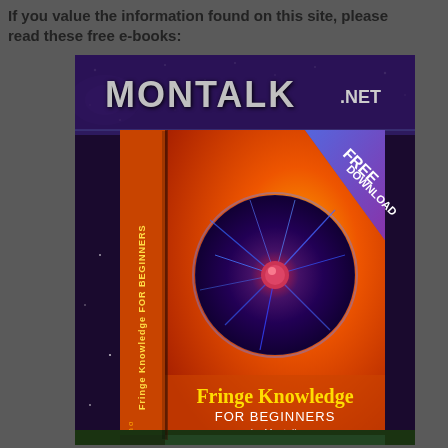If you value the information found on this site, please read these free e-books:
[Figure (illustration): Book cover advertisement for 'Fringe Knowledge for Beginners' by Montalk, hosted on montalk.net. Shows a 3D book with orange/red background and a plasma ball image on the cover. A blue diagonal banner in the top-right reads 'FREE DOWNLOAD'. The site logo 'MONTALK.NET' appears at the top in silver/chrome letters.]